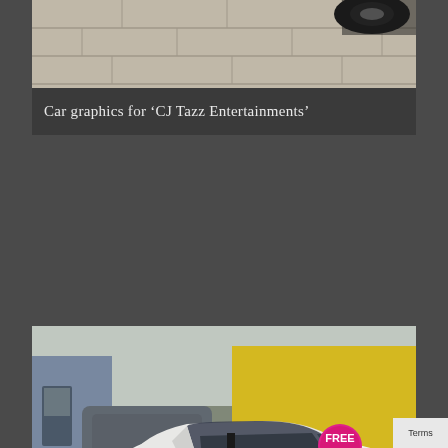[Figure (photo): Top portion of a car photo showing pavement/ground and a tyre visible at the top right, cropped image of a vehicle with car graphics]
Car graphics for ‘CJ Tazz Entertainments’
[Figure (photo): Photo of a white Fiat Punto car with vehicle graphics/livery for 'Holistic Health & Beauty - Laser Hair Removal', showing the website www.holistichealthandbeauty.c... and phone number t. 01253 788000, with a pink circular sticker saying FREE on the rear window. Car is parked in front of a yellow and blue industrial building.]